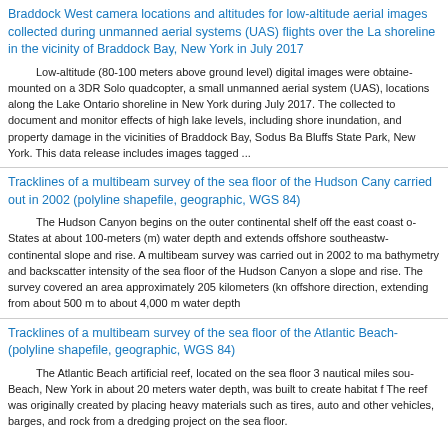Braddock West camera locations and altitudes for low-altitude aerial images collected during unmanned aerial systems (UAS) flights over the Lake Ontario shoreline in the vicinity of Braddock Bay, New York in July 2017
Low-altitude (80-100 meters above ground level) digital images were obtained mounted on a 3DR Solo quadcopter, a small unmanned aerial system (UAS), locations along the Lake Ontario shoreline in New York during July 2017. The collected to document and monitor effects of high lake levels, including shore inundation, and property damage in the vicinities of Braddock Bay, Sodus Ba Bluffs State Park, New York. This data release includes images tagged ...
Tracklines of a multibeam survey of the sea floor of the Hudson Canyon carried out in 2002 (polyline shapefile, geographic, WGS 84)
The Hudson Canyon begins on the outer continental shelf off the east coast of States at about 100-meters (m) water depth and extends offshore southeastw continental slope and rise. A multibeam survey was carried out in 2002 to ma bathymetry and backscatter intensity of the sea floor of the Hudson Canyon a slope and rise. The survey covered an area approximately 205 kilometers (kn offshore direction, extending from about 500 m to about 4,000 m water depth
Tracklines of a multibeam survey of the sea floor of the Atlantic Beach (polyline shapefile, geographic, WGS 84)
The Atlantic Beach artificial reef, located on the sea floor 3 nautical miles sou Beach, New York in about 20 meters water depth, was built to create habitat f The reef was originally created by placing heavy materials such as tires, auto and other vehicles, barges, and rock from a dredging project on the sea floor.